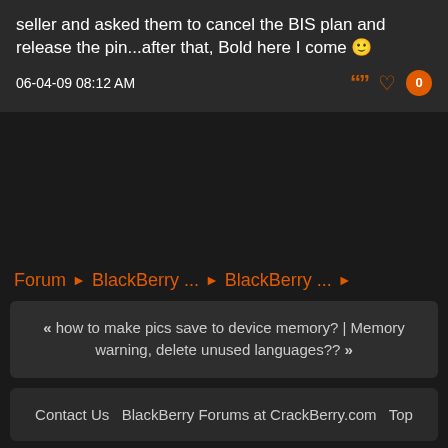seller and asked them to cancel the BIS plan and release the pin...after that, Bold here I come 🙂
06-04-09 08:12 AM
« how to make pics save to device memory? | Memory warning, delete unused languages?? »
Contact Us   BlackBerry Forums at CrackBerry.com   Top
All times are GMT -5. The time now is 12:24 PM.
Digital Point modules: Sphinx-based search